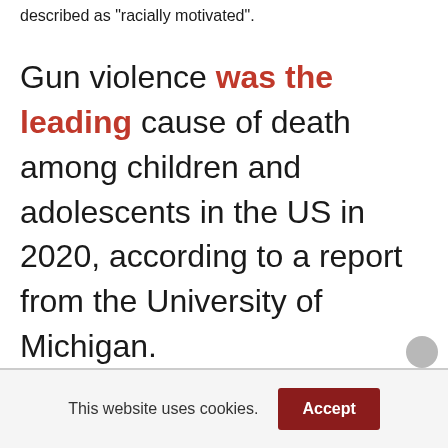described as 'racially motivated'.
Gun violence was the leading cause of death among children and adolescents in the US in 2020, according to a report from the University of Michigan.
This website uses cookies. Accept